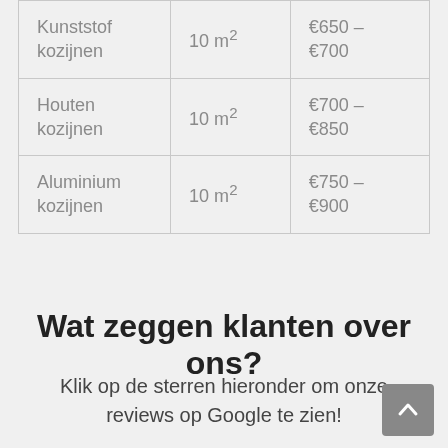| Kunststof kozijnen | 10 m² | €650 – €700 |
| Houten kozijnen | 10 m² | €700 – €850 |
| Aluminium kozijnen | 10 m² | €750 – €900 |
Wat zeggen klanten over ons?
Klik op de sterren hieronder om onze reviews op Google te zien!